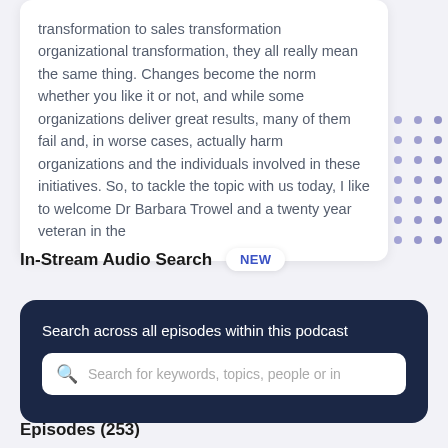transformation to sales transformation organizational transformation, they all really mean the same thing. Changes become the norm whether you like it or not, and while some organizations deliver great results, many of them fail and, in worse cases, actually harm organizations and the individuals involved in these initiatives. So, to tackle the topic with us today, I like to welcome Dr Barbara Trowel and a twenty year veteran in the
[Figure (illustration): Decorative dot pattern of purple/blue dots arranged in a gradient pattern on the top-right background area]
In-Stream Audio Search
NEW
Search across all episodes within this podcast
Search for keywords, topics, people or in
Episodes (253)